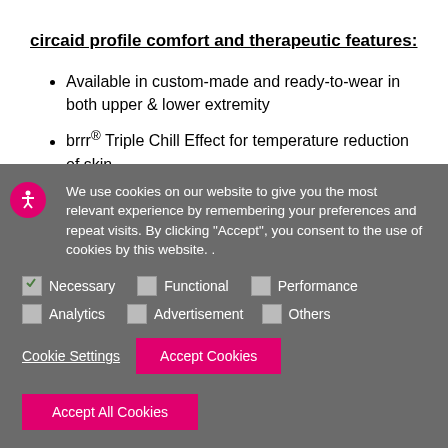circaid profile comfort and therapeutic features:
Available in custom-made and ready-to-wear in both upper & lower extremity
brrr® Triple Chill Effect for temperature reduction of skin
Engineered foam creates massaging effect and
We use cookies on our website to give you the most relevant experience by remembering your preferences and repeat visits. By clicking "Accept", you consent to the use of cookies by this website. .
Necessary  Functional  Performance  Analytics  Advertisement  Others
Cookie Settings    Accept Cookies    Accept All Cookies